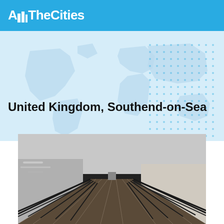AllTheCities
[Figure (illustration): Light blue world map background with dot grid pattern overlay on right side]
United Kingdom, Southend-on-Sea
[Figure (photo): Black and white photograph of Southend-on-Sea pier, a long wooden boardwalk with metal railings extending into the distance, water on the left and sandy ground on the right]